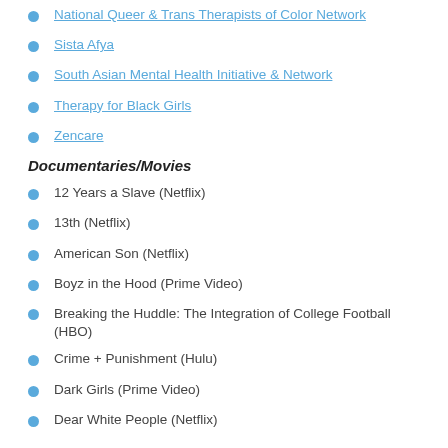National Queer & Trans Therapists of Color Network
Sista Afya
South Asian Mental Health Initiative & Network
Therapy for Black Girls
Zencare
Documentaries/Movies
12 Years a Slave (Netflix)
13th (Netflix)
American Son (Netflix)
Boyz in the Hood (Prime Video)
Breaking the Huddle: The Integration of College Football (HBO)
Crime + Punishment (Hulu)
Dark Girls (Prime Video)
Dear White People (Netflix)